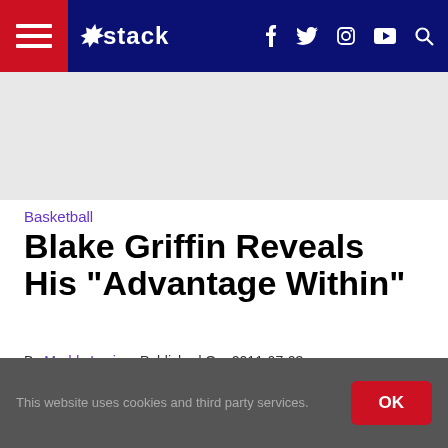stack — navigation bar with hamburger menu, logo, social icons (f, Twitter, Instagram, YouTube), search icon
[Figure (other): Grey advertisement/banner strip below navigation bar]
Basketball
Blake Griffin Reveals His "Advantage Within"
By Maddy Lucier   Published On: 2011-07-03
[Figure (other): Black video player area]
This website uses cookies and third party services.